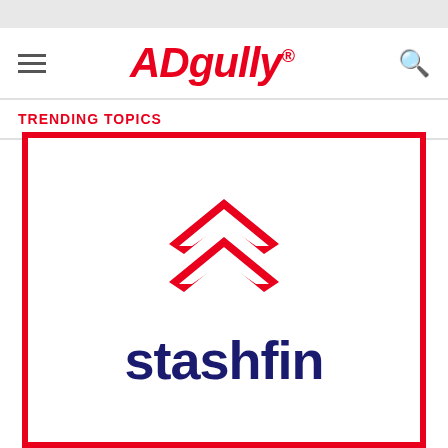ADgully
TRENDING TOPICS
[Figure (logo): Stashfin company logo inside a red-bordered square frame. Red chevron/arrow symbol above dark navy blue text reading 'stashfin'.]